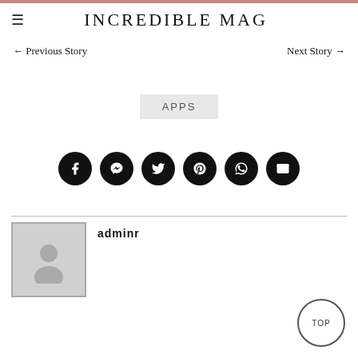INCREDIBLE MAG
← Previous Story    Next Story →
APPS
[Figure (other): Row of 6 social media share buttons (Facebook, Messenger, Twitter, Pinterest, WhatsApp, Email) as black circles with white icons]
[Figure (photo): Author avatar placeholder image — grey silhouette of a person on grey background, inside a square border]
adminr
TOP